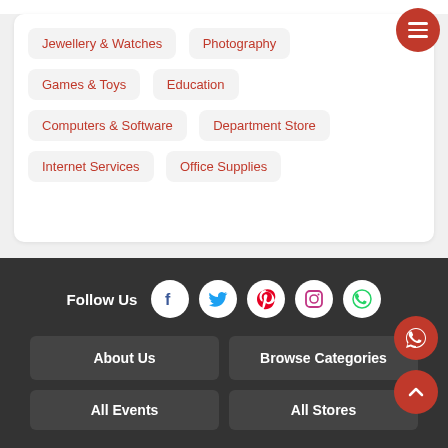Jewellery & Watches
Photography
Games & Toys
Education
Computers & Software
Department Store
Internet Services
Office Supplies
Follow Us
About Us
Browse Categories
All Events
All Stores